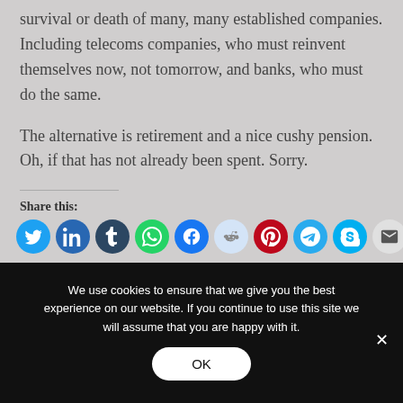survival or death of many, many established companies. Including telecoms companies, who must reinvent themselves now, not tomorrow, and banks, who must do the same.
The alternative is retirement and a nice cushy pension. Oh, if that has not already been spent. Sorry.
Share this:
[Figure (infographic): A row of social media share icon buttons: Twitter (blue), LinkedIn (dark blue), Tumblr (dark navy), WhatsApp (green), Facebook (blue), Reddit (light blue), Pinterest (red), Telegram (teal), Skype (light blue), Email (grey)]
We use cookies to ensure that we give you the best experience on our website. If you continue to use this site we will assume that you are happy with it.